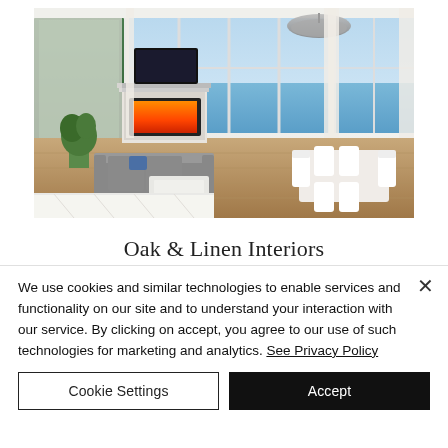[Figure (photo): Interior photo of a modern coastal living and dining room with large windows, ocean view, fireplace, gray sofas, white dining chairs, chandelier, and hardwood floors.]
Oak & Linen Interiors
We use cookies and similar technologies to enable services and functionality on our site and to understand your interaction with our service. By clicking on accept, you agree to our use of such technologies for marketing and analytics. See Privacy Policy